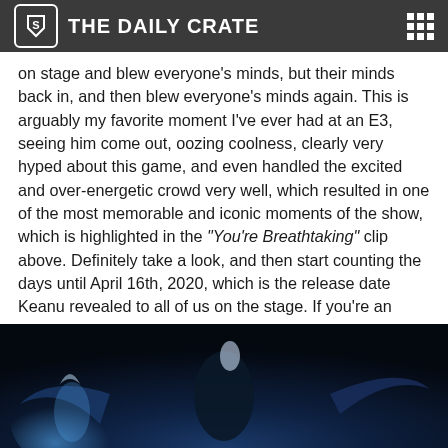THE DAILY CRATE
on stage and blew everyone's minds, but their minds back in, and then blew everyone's minds again. This is arguably my favorite moment I've ever had at an E3, seeing him come out, oozing coolness, clearly very hyped about this game, and even handled the excited and over-energetic crowd very well, which resulted in one of the most memorable and iconic moments of the show, which is highlighted in the “You’re Breathtaking” clip above. Definitely take a look, and then start counting the days until April 16th, 2020, which is the release date Keanu revealed to all of us on the stage. If you're an RPG fan, or hell even just a gaming fan in general, this is game most folks won't want to miss…
[Figure (illustration): Fantasy game artwork showing a character riding a large winged creature (likely a dragon or demon) against a dark blue background, with glowing blue light effects on the left side]